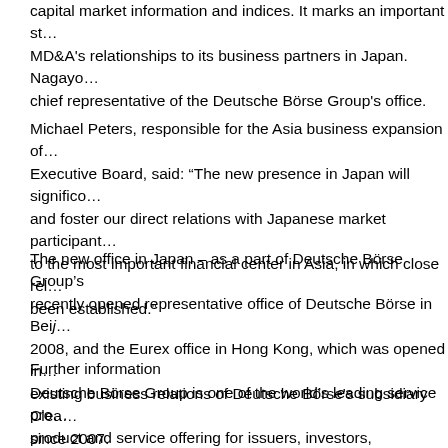capital market information and indices. It marks an important step in MD&A's relationships to its business partners in Japan. Nagayo... chief representative of the Deutsche Börse Group's office.
Michael Peters, responsible for the Asia business expansion of the Executive Board, said: “The new presence in Japan will significantly and foster our direct relations with Japanese market participants to the most important financial center in Asia, in which close relationships have been established.”
The new office in Japan – as a part of Deutsche Börse Group’s recently opened representative office of Deutsche Börse in Beijing in 2008, and the Eurex office in Hong Kong, which was opened in existing business relations of Deutsche Börse's subsidiary Clearstream since 2007.
Further information
Deutsche Börse Group is one of the world’s leading service providers product and service offering for issuers, investors, intermediaries entire process chain from trading, through clearing, to settlement. Deutsche Börse offers market data, indices and analyses and is operation of IT systems.